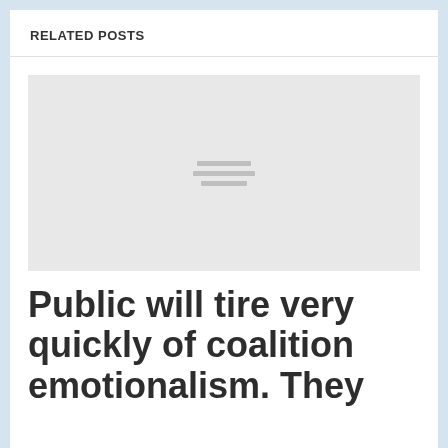RELATED POSTS
[Figure (photo): Placeholder image with three horizontal lines icon indicating missing or loading image]
Public will tire very quickly of coalition emotionalism. They